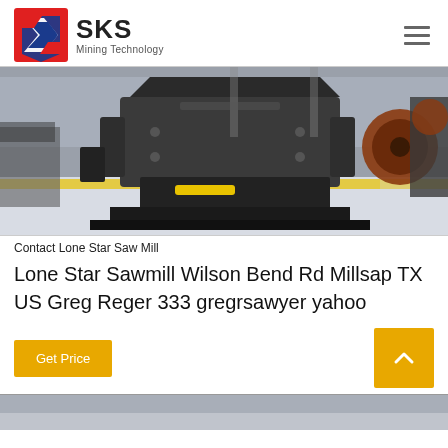[Figure (logo): SKS Mining Technology logo with red and blue shield icon and company name]
[Figure (photo): Large industrial jaw crusher / mining machinery on a factory floor with yellow and blue accents]
Contact Lone Star Saw Mill
Lone Star Sawmill Wilson Bend Rd Millsap TX US Greg Reger 333 gregrsawyer yahoo
Get Price